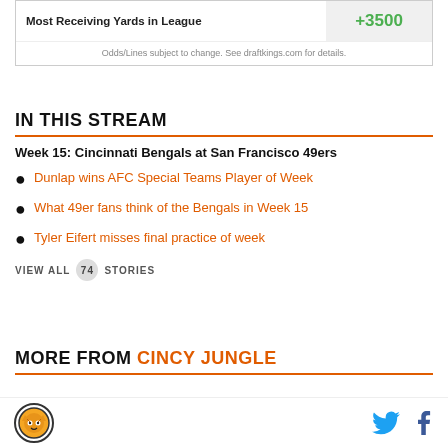|  |  |
| --- | --- |
| Most Receiving Yards in League | +3500 |
Odds/Lines subject to change. See draftkings.com for details.
IN THIS STREAM
Week 15: Cincinnati Bengals at San Francisco 49ers
Dunlap wins AFC Special Teams Player of Week
What 49er fans think of the Bengals in Week 15
Tyler Eifert misses final practice of week
VIEW ALL 74 STORIES
MORE FROM CINCY JUNGLE
[Figure (logo): Cincy Jungle logo circle with tiger face and social media icons (Twitter, Facebook)]